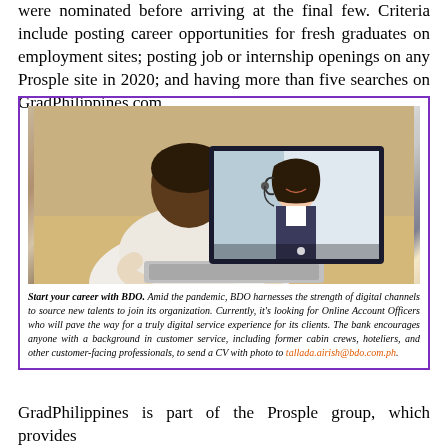were nominated before arriving at the final few. Criteria include posting career opportunities for fresh graduates on employment sites; posting job or internship openings on any Prosple site in 2020; and having more than five searches on GradPhilippines.com.
[Figure (photo): Person viewed from behind sitting at a desk using a laptop, with a video call showing a smiling woman wearing a headset on the laptop screen.]
Start your career with BDO. Amid the pandemic, BDO harnesses the strength of digital channels to source new talents to join its organization. Currently, it's looking for Online Account Officers who will pave the way for a truly digital service experience for its clients. The bank encourages anyone with a background in customer service, including former cabin crews, hoteliers, and other customer-facing professionals, to send a CV with photo to tallada.airish@bdo.com.ph.
GradPhilippines is part of the Prosple group, which provides